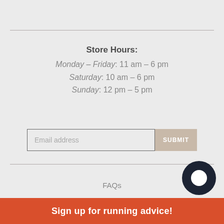Store Hours:
Monday – Friday: 11 am – 6 pm
Saturday: 10 am – 6 pm
Sunday: 12 pm – 5 pm
Email address
SUBMIT
FAQs
Meet the Team
Sign up for running advice!